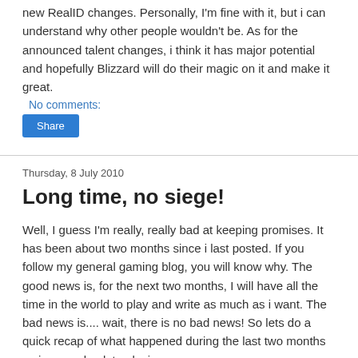new RealID changes. Personally, I'm fine with it, but i can understand why other people wouldn't be. As for the announced talent changes, i think it has major potential and hopefully Blizzard will do their magic on it and make it great.
No comments:
Share
Thursday, 8 July 2010
Long time, no siege!
Well, I guess I'm really, really bad at keeping promises. It has been about two months since i last posted. If you follow my general gaming blog, you will know why. The good news is, for the next two months, I will have all the time in the world to play and write as much as i want. The bad news is.... wait, there is no bad news! So lets do a quick recap of what happened during the last two months so i can go back to playing.